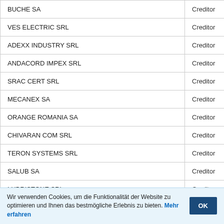|  |  |
| --- | --- |
| BUCHE SA | Creditor |
| VES ELECTRIC SRL | Creditor |
| ADEXX INDUSTRY SRL | Creditor |
| ANDACORD IMPEX SRL | Creditor |
| SRAC CERT SRL | Creditor |
| MECANEX SA | Creditor |
| ORANGE ROMANIA SA | Creditor |
| CHIVARAN COM SRL | Creditor |
| TERON SYSTEMS SRL | Creditor |
| SALUB SA | Creditor |
| LUBRISTONE SRL | Creditor |
| RAIBAK SRL | Creditor |
455/116/2019
Procedura insolvenței - societăți cu răspundere limitată
Wir verwenden Cookies, um die Funktionalität der Website zu optimieren und Ihnen das bestmögliche Erlebnis zu bieten. Mehr erfahren